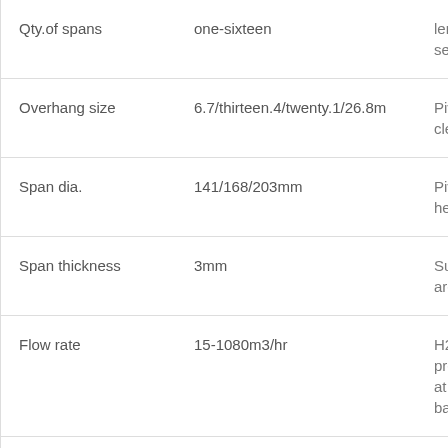| Property | Value | Notes |
| --- | --- | --- |
| Qty.of spans | one-sixteen | length
selection |
| Overhang size | 6.7/thirteen.4/twenty.1/26.8m | Pivot
clearance |
| Span dia. | 141/168/203mm | Pivot
height |
| Span thickness | 3mm | Surface
area |
| Flow rate | 15-1080m3/hr | H2o
pressure
at pivot
base |
|  |  |  |